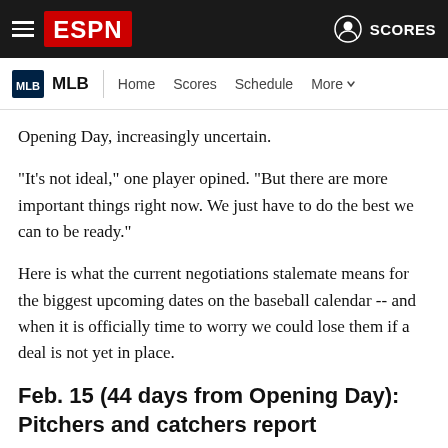ESPN — MLB | Home Scores Schedule More | SCORES
Opening Day, increasingly uncertain.
"It's not ideal," one player opined. "But there are more important things right now. We just have to do the best we can to be ready."
Here is what the current negotiations stalemate means for the biggest upcoming dates on the baseball calendar -- and when it is officially time to worry we could lose them if a deal is not yet in place.
Feb. 15 (44 days from Opening Day): Pitchers and catchers report
When to worry: Feb. 8